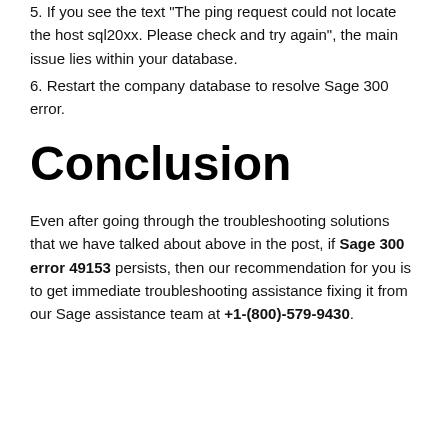5. If you see the text "The ping request could not locate the host sql20xx. Please check and try again", the main issue lies within your database.
6. Restart the company database to resolve Sage 300 error.
Conclusion
Even after going through the troubleshooting solutions that we have talked about above in the post, if Sage 300 error 49153 persists, then our recommendation for you is to get immediate troubleshooting assistance fixing it from our Sage assistance team at +1-(800)-579-9430.